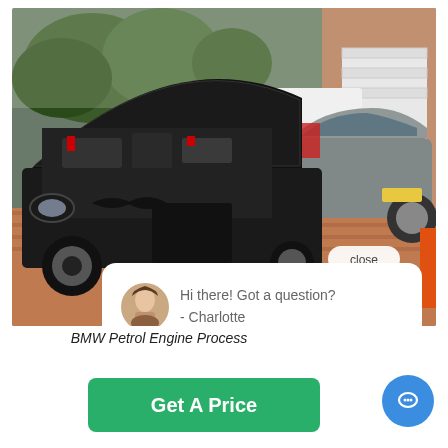[Figure (photo): BMW car with hood open showing engine, a gray BMW in the background with door open, parked on a brick driveway with trees and a garage. A chat bubble overlay shows 'Hi there! Got a question? - Charlotte' with a woman's avatar, and a 'close' button in the top right of the image.]
BMW Petrol Engine Process
Get A Price